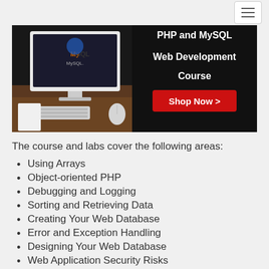[Figure (screenshot): PHP and MySQL Web Development Course banner with MySQL logo on a monitor, dark background, 'Shop Now >' red button]
The course and labs cover the following areas:
Using Arrays
Object-oriented PHP
Debugging and Logging
Sorting and Retrieving Data
Creating Your Web Database
Error and Exception Handling
Designing Your Web Database
Web Application Security Risks
Integrating JavaScript
Advanced MySQL Programming
Advanced MySQL Administration